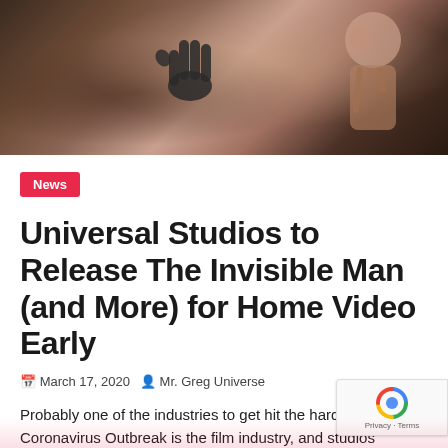[Figure (photo): Dark cinematic still from The Invisible Man movie showing a handprint on glass and a person in the background]
News
Universal Studios to Release The Invisible Man (and More) for Home Video Early
March 17, 2020   Mr. Greg Universe
Probably one of the industries to get hit the hardest by the Coronavirus Outbreak is the film industry, and studios